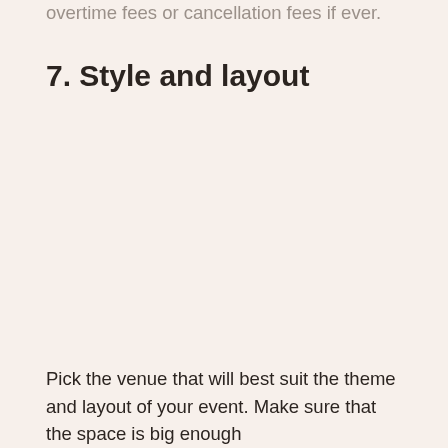overtime fees or cancellation fees if ever.
7. Style and layout
Pick the venue that will best suit the theme and layout of your event. Make sure that the space is big enough